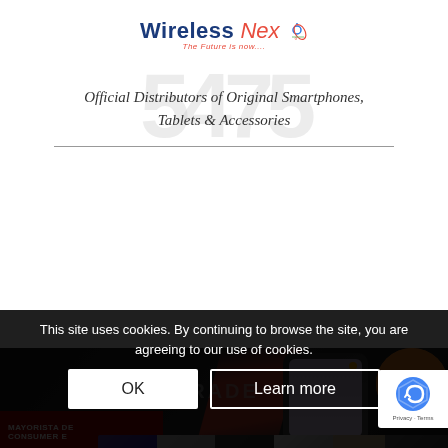[Figure (logo): Wireless Nex logo with tagline 'The Future is now...']
Official Distributors of Original Smartphones, Tablets & Accessories
[Figure (photo): Solaris Wireless banner showing various smartphones and the Solaris Wireless logo with website www.solariswireless.com]
[Figure (photo): Vipertrade banner showing smartphones, company logo, and MAYORISTA DE CONSUMER E text]
This site uses cookies. By continuing to browse the site, you are agreeing to our use of cookies.
[Figure (other): Cookie consent buttons: OK and Learn more]